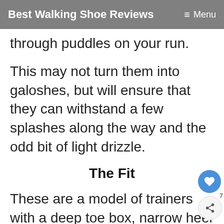Best Walking Shoe Reviews  ≡ Menu
through puddles on your run.
This may not turn them into galoshes, but will ensure that they can withstand a few splashes along the way and the odd bit of light drizzle.
The Fit
These are a model of trainers with a deep toe box, narrow heel and wide forefoot – according to the manufacturer's description of their